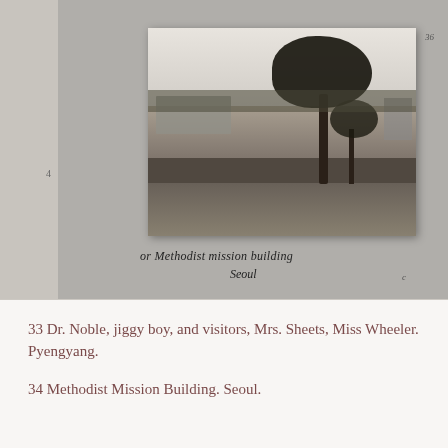[Figure (photo): Black and white historical photograph mounted on album page, showing Methodist Mission Building in Seoul. A large tree dominates the center-right of the image with buildings visible in the background. Handwritten caption below the photo reads 'Methodist mission building Seoul'. The photo is mounted on a grey album page with a left tab/binding margin.]
33 Dr. Noble, jiggy boy, and visitors, Mrs. Sheets, Miss Wheeler. Pyengyang.
34 Methodist Mission Building. Seoul.